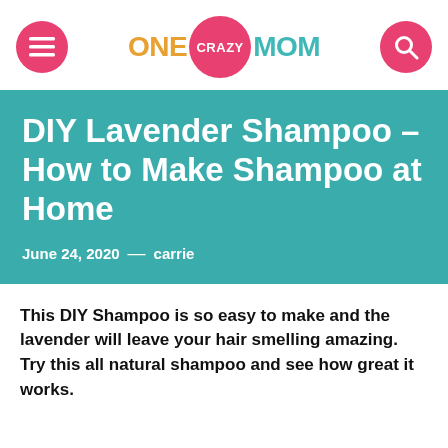ONE CRAZY MOM
DIY Lavender Shampoo – How to Make Shampoo at Home
June 24, 2020  —  carrie
This DIY Shampoo is so easy to make and the lavender will leave your hair smelling amazing. Try this all natural shampoo and see how great it works.